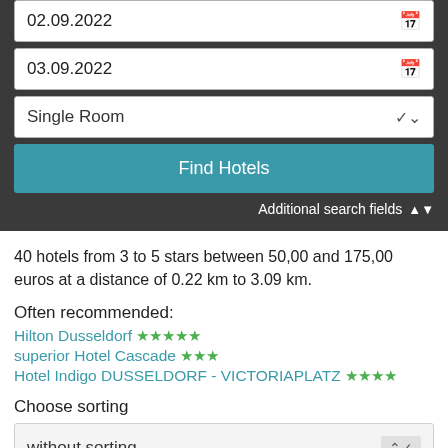02.09.2022
03.09.2022
Single Room
Find Hotels
Additional search fields
40 hotels from 3 to 5 stars between 50,00 and 175,00 euros at a distance of 0.22 km to 3.09 km.
Often recommended:
Hilton Dusseldorf ★★★★★
superior Hotel Cascade ★★★
Hotel Indigo DUSSELDORF - VICTORIAPLATZ ★★★★
Choose sorting
without sorting